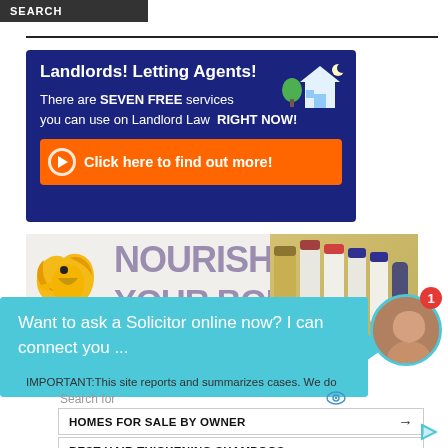SEARCH
[Figure (infographic): Blue banner advertisement for Landlord Law: 'Landlords! Letting Agents! There are SEVEN FREE services you can use on Landlord Law RIGHT NOW! Click here to find out more!' with house icon and orange button]
[Figure (infographic): NOURISH YOUR BODY advertisement with golden eagle logo and product bottles]
[Figure (other): Teal chat bubble with text 'Want to ask a Solicitor online now? I can connect you ...' with avatar photo and red notification badge showing 1]
IMPORTANT:This site reports and summarizes cases. We do
Search for
HOMES FOR SALE BY OWNER →
BEST HAIR THICKENING SHAMPOOS →